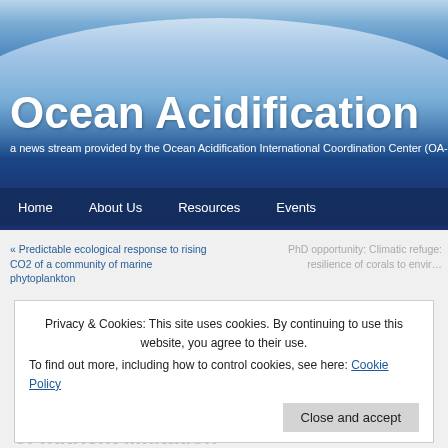[Figure (photo): Ocean Acidification website header banner showing ocean water with blue sky, featuring large white title text 'Ocean Acidification' and subtitle about OA-ICC news stream]
Ocean Acidification
a news stream provided by the Ocean Acidification International Coordination Center (OA-ICC)
Home   About Us   Resources   Events
« Predictable ecological response to rising CO2 of a community of marine phytoplankton
PhD opportunity: Climatic refuge… resilience of corals to envir…
Privacy & Cookies: This site uses cookies. By continuing to use this website, you agree to their use.
To find out more, including how to control cookies, see here: Cookie Policy
Plankton responses to ocean acidification: t… of nutrient limitation
Tags: abundance, Arctic, biological response, BDcommunity, community composition